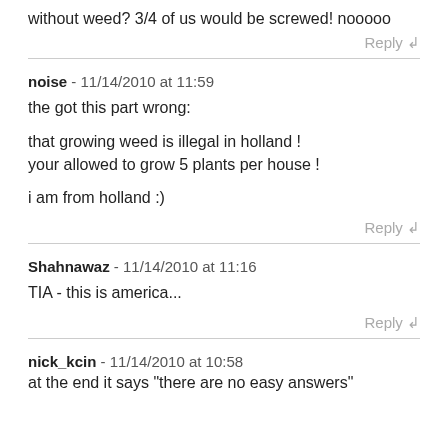without weed? 3/4 of us would be screwed! nooooo
Reply ↲
noise - 11/14/2010 at 11:59
the got this part wrong:

that growing weed is illegal in holland !
your allowed to grow 5 plants per house !

i am from holland :)
Reply ↲
Shahnawaz - 11/14/2010 at 11:16
TIA - this is america...
Reply ↲
nick_kcin - 11/14/2010 at 10:58
at the end it says "there are no easy answers"